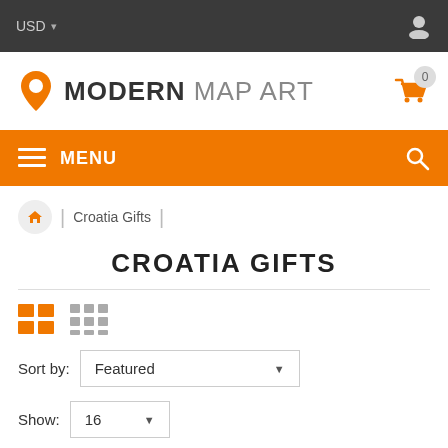USD
[Figure (logo): Modern Map Art logo with orange location pin icon]
MENU
Croatia Gifts
CROATIA GIFTS
Sort by: Featured
Show: 16